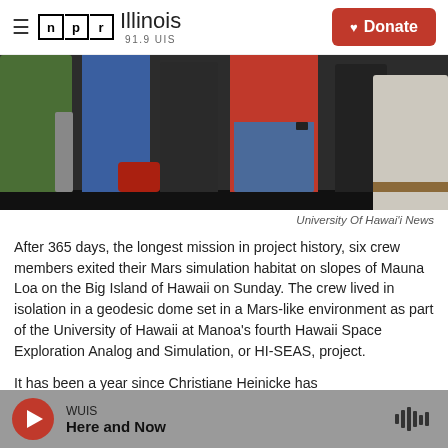NPR Illinois 91.9 UIS | Donate
[Figure (photo): Group of people standing outside near a white tent structure on dark volcanic ground. People wearing green, blue, dark, and red shirts/jackets.]
University Of Hawai'i News
After 365 days, the longest mission in project history, six crew members exited their Mars simulation habitat on slopes of Mauna Loa on the Big Island of Hawaii on Sunday. The crew lived in isolation in a geodesic dome set in a Mars-like environment as part of the University of Hawaii at Manoa's fourth Hawaii Space Exploration Analog and Simulation, or HI-SEAS, project.
It has been a year since Christiane Heinicke has
WUIS | Here and Now